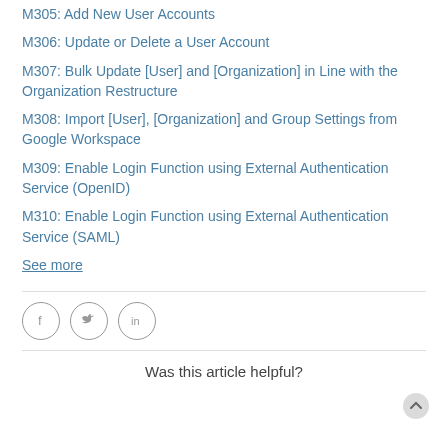M305: Add New User Accounts
M306: Update or Delete a User Account
M307: Bulk Update [User] and [Organization] in Line with the Organization Restructure
M308: Import [User], [Organization] and Group Settings from Google Workspace
M309: Enable Login Function using External Authentication Service (OpenID)
M310: Enable Login Function using External Authentication Service (SAML)
See more
[Figure (illustration): Three circular social media icon buttons: Facebook (f), Twitter (bird), LinkedIn (in)]
Was this article helpful?